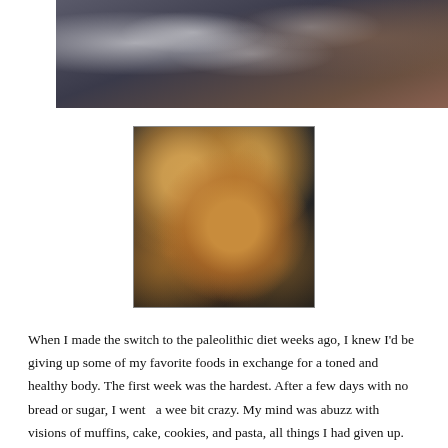[Figure (photo): Close-up photo of food cooking in a pan with bubbling oil/batter, dark background with light reflections]
[Figure (photo): Photo of several round golden-brown pancakes or patties cooking in a dark cast iron skillet with sizzling oil]
When I made the switch to the paleolithic diet weeks ago, I knew I'd be giving up some of my favorite foods in exchange for a toned and healthy body. The first week was the hardest. After a few days with no bread or sugar, I went  a wee bit crazy. My mind was abuzz with visions of muffins, cake, cookies, and pasta, all things I had given up. No matter how many veggies and meat I stuffed into my